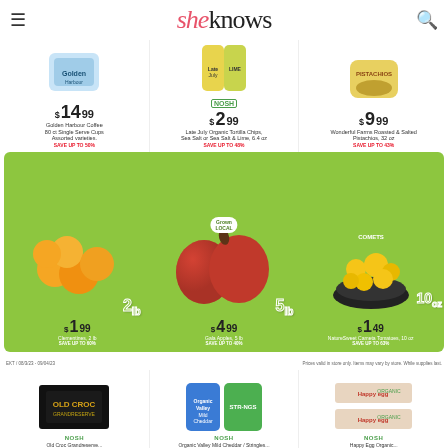sheknows
[Figure (photo): Golden Harbour Coffee 80ct Single Serve Cups - $14.99, save up to 50%]
[Figure (photo): Late July Organic Tortilla Chips, Sea Salt or Sea Salt & Lime, 6.4 oz - $2.99, save up to 48%]
[Figure (photo): Wonderful Farms Roasted & Salted Pistachios, 32 oz - $9.99, save up to 43%]
[Figure (photo): Clementines 2 lb - $1.99, save up to 60%]
[Figure (photo): Gala Apples, 5 lb - $4.99, save up to 40%]
[Figure (photo): NatureSweet Cameta Tomatoes, 10 oz - $1.49, save up to 63%]
Prices valid in store only. Items may vary by store. While supplies last.
[Figure (photo): Old Croc Grandreserve cheese - NOSH]
[Figure (photo): Organic Valley Mild Cheddar / Stringles - NOSH]
[Figure (photo): Happy Egg Organic Eggs - NOSH]